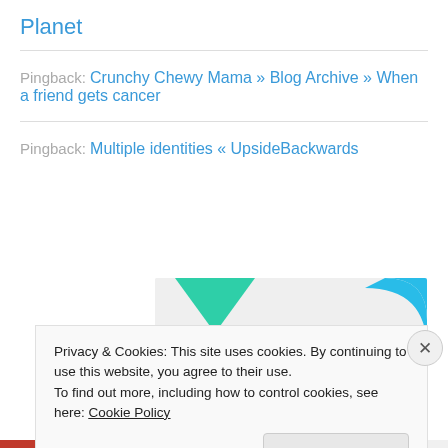Planet
Pingback: Crunchy Chewy Mama » Blog Archive » When a friend gets cancer
Pingback: Multiple identities « UpsideBackwards
[Figure (illustration): Ad banner with teal and blue geometric shapes and text 'How to start selling subscriptions online' on light gray background]
Privacy & Cookies: This site uses cookies. By continuing to use this website, you agree to their use.
To find out more, including how to control cookies, see here: Cookie Policy
Close and accept